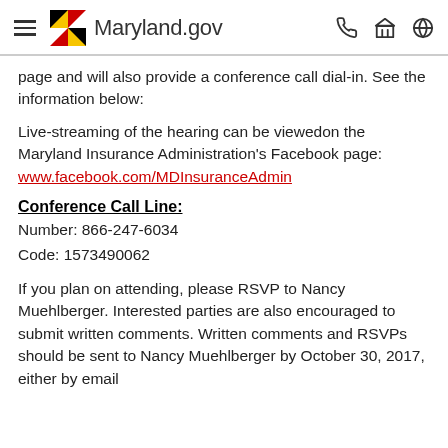Maryland.gov
page and will also provide a conference call dial-in. See the information below:
Live-streaming of the hearing can be viewedon the Maryland Insurance Administration's Facebook page:
www.facebook.com/MDInsuranceAdmin
Conference Call Line:
Number: 866-247-6034
Code: 1573490062
If you plan on attending, please RSVP to Nancy Muehlberger. Interested parties are also encouraged to submit written comments. Written comments and RSVPs should be sent to Nancy Muehlberger by October 30, 2017, either by email